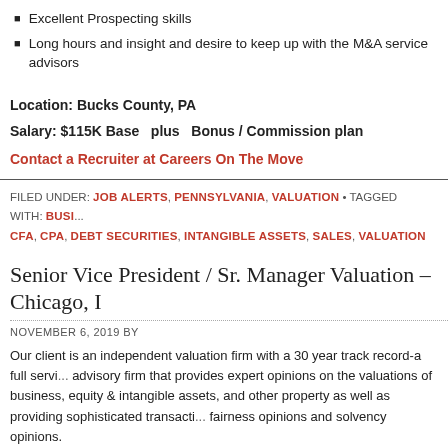Excellent Prospecting skills
Long hours and insight and desire to keep up with the M&A service advisors
Location: Bucks County, PA
Salary: $115K Base  plus  Bonus / Commission plan
Contact a Recruiter at Careers On The Move
FILED UNDER: JOB ALERTS, PENNSYLVANIA, VALUATION • TAGGED WITH: BUSI... CFA, CPA, DEBT SECURITIES, INTANGIBLE ASSETS, SALES, VALUATION
Senior Vice President / Sr. Manager Valuation – Chicago, I
NOVEMBER 6, 2019 BY
Our client is an independent valuation firm with a 30 year track record-a full service advisory firm that provides expert opinions on the valuations of business, equity intangible assets, and other property as well as providing sophisticated transacti... fairness opinions and solvency opinions.
Excellent opportunity to work on top deals, gain and develop key industry contac... revenue generation. This senior leadership position is that of a Doer /Seller and